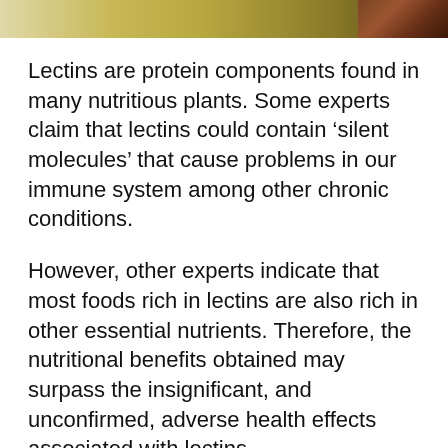[Figure (photo): Partial image of food items at the top of the page, showing warm yellow and brown tones.]
Lectins are protein components found in many nutritious plants. Some experts claim that lectins could contain ‘silent molecules’ that cause problems in our immune system among other chronic conditions.
However, other experts indicate that most foods rich in lectins are also rich in other essential nutrients. Therefore, the nutritional benefits obtained may surpass the insignificant, and unconfirmed, adverse health effects associated with lectins.
Exploring this issue further requires a deeper understanding of the terms we are using. Starting by defining lectins themselves.